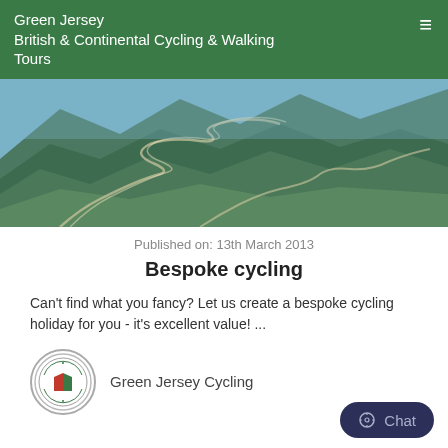Green Jersey
British & Continental Cycling & Walking Tours
[Figure (photo): Aerial view of winding mountain road switchbacks through green hills with blue sky]
Published on: 13th March 2013
Bespoke cycling
Can't find what you fancy? Let us create a bespoke cycling holiday for you - it's excellent value! ...
Green Jersey Cycling